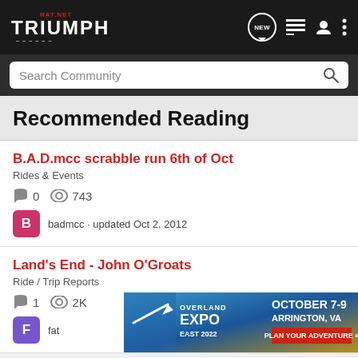RAT.NET TRIUMPH
Recommended Reading
B.A.D.mcc scrabble run 6th of Oct
Rides & Events
0  743
badmcc · updated Oct 2, 2012
Land's End - John O'Groats
Ride / Trip Reports
1  2K
fat...
[Figure (screenshot): Overland Expo East 2022 advertisement banner: October 7-9, Arrington, VA. Plan Your Adventure.]